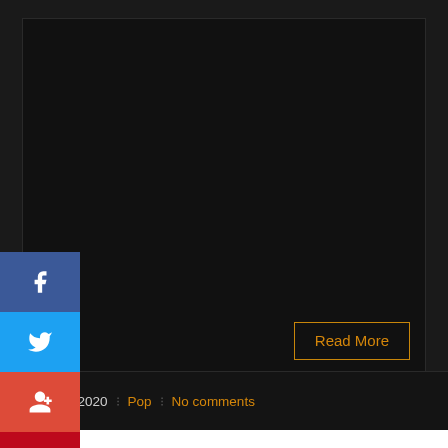[Figure (screenshot): Dark themed web page with social media sharing sidebar (Facebook, Twitter, Google+, Pinterest, LinkedIn) on the left, a large dark content area, and a 'Read More' button at the bottom right]
Read More
June 11, 2020 | Pop | No comments